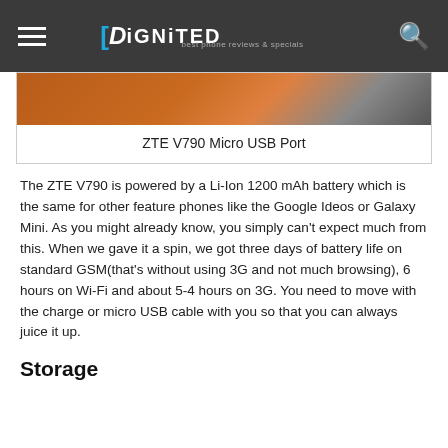DIGNITED
[Figure (photo): Partial photo showing hands holding a phone, with orange background]
ZTE V790 Micro USB Port
The ZTE V790 is powered by a Li-Ion 1200 mAh battery which is the same for other feature phones like the Google Ideos or Galaxy Mini. As you might already know, you simply can’t expect much from this. When we gave it a spin, we got three days of battery life on standard GSM(that’s without using 3G and not much browsing), 6 hours on Wi-Fi and about 5-4 hours on 3G. You need to move with the charge or micro USB cable with you so that you can always juice it up.
Storage